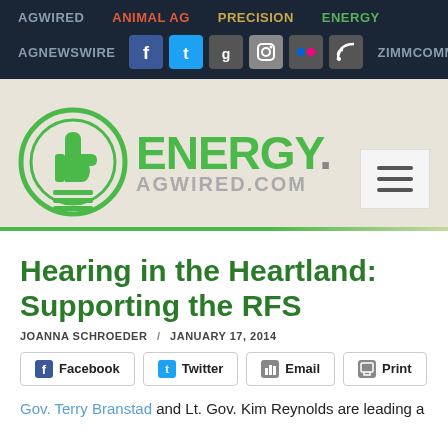AGWIRED  ANIMAL AG  PRECISION  ENERGY  AGNEWSWIRE  ZIMMCOMM
[Figure (logo): Energy.AgWired.com logo — green circle with thumbs up icon, green ENERGY text and grey AGWIRED.COM text]
Hearing in the Heartland: Supporting the RFS
JOANNA SCHROEDER / JANUARY 17, 2014
Facebook  Twitter  Email  Print
Gov. Terry Branstad and Lt. Gov. Kim Reynolds are leading a